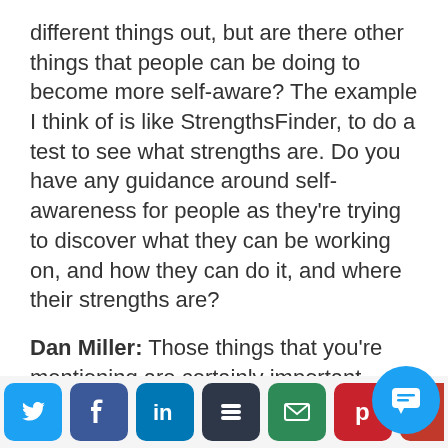different things out, but are there other things that people can be doing to become more self-aware? The example I think of is like StrengthsFinder, to do a test to see what strengths are. Do you have any guidance around self-awareness for people as they're trying to discover what they can be working on, and how they can do it, and where their strengths are?
Dan Miller: Those things that you're mentioning are certainly important pieces. We use the DISC profile here at 48 days, Dominance, Influence, Steadiness, and Compliance. How you work with other people is a really big component of
[Figure (other): Social sharing toolbar with icons for Twitter, Facebook, LinkedIn, Buffer, Email, Pinterest, and a phone/share icon, plus a chat bubble overlay button]